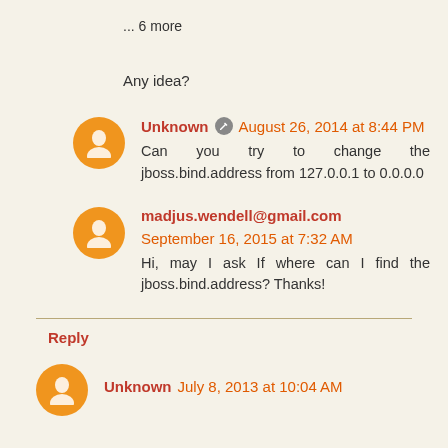... 6 more
Any idea?
Unknown  August 26, 2014 at 8:44 PM
Can you try to change the jboss.bind.address from 127.0.0.1 to 0.0.0.0
madjus.wendell@gmail.com September 16, 2015 at 7:32 AM
Hi, may I ask If where can I find the jboss.bind.address? Thanks!
Reply
Unknown July 8, 2013 at 10:04 AM